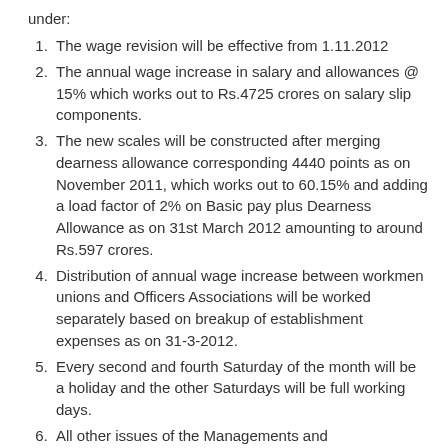under:
The wage revision will be effective from 1.11.2012
The annual wage increase in salary and allowances @ 15% which works out to Rs.4725 crores on salary slip components.
The new scales will be constructed after merging dearness allowance corresponding 4440 points as on November 2011, which works out to 60.15% and adding a load factor of 2% on Basic pay plus Dearness Allowance as on 31st March 2012 amounting to around Rs.597 crores.
Distribution of annual wage increase between workmen unions and Officers Associations will be worked separately based on breakup of establishment expenses as on 31-3-2012.
Every second and fourth Saturday of the month will be a holiday and the other Saturdays will be full working days.
All other issues of the Managements and Unions/Associations discussed during the process of negotiation will be settled to the mutual satisfaction.